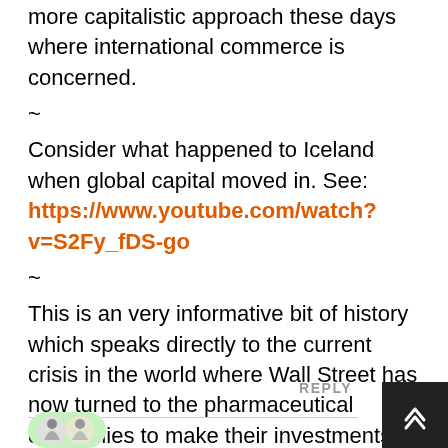more capitalistic approach these days where international commerce is concerned.
~
Consider what happened to Iceland when global capital moved in. See: https://www.youtube.com/watch?v=S2Fy_fDS-go
~
This is an very informative bit of history which speaks directly to the current crisis in the world where Wall Street has now turned to the pharmaceutical companies to make their investments profitable.
REPLY